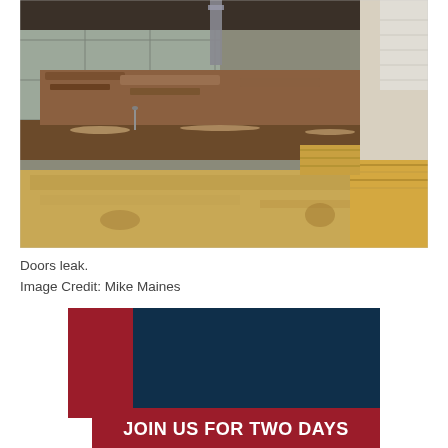[Figure (photo): Photo showing water damage and rot at a door threshold area. Brown painted door frame/threshold with rotted wood, debris, and structural damage visible. Tile flooring on the left and plywood/OSB subfloor visible in the foreground.]
Doors leak.
Image Credit: Mike Maines
[Figure (infographic): Promotional banner with dark navy blue background, a red rectangle on the left side overlapping the navy rectangle, and bold white text reading 'JOIN US FOR TWO DAYS' on the red strip at the bottom.]